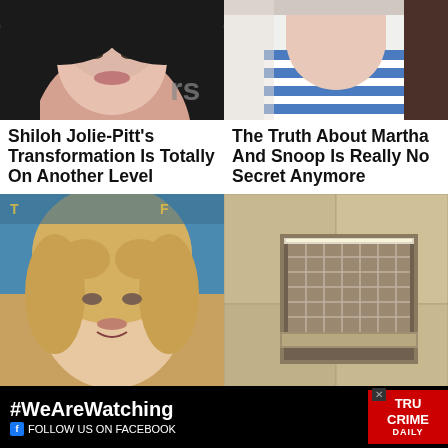[Figure (photo): Close-up of young woman's face with dark hair, against a dark background, partial view of letters 'rs' visible]
[Figure (photo): Person wearing blue and white striped shirt, partial face visible, light background]
Shiloh Jolie-Pitt's Transformation Is Totally On Another Level
The Truth About Martha And Snoop Is Really No Secret Anymore
[Figure (photo): Blonde woman smiling, Anne Heche, at a media event against blue background]
[Figure (photo): Shower niche with small square tiles set into a stone/marble wall with a shelf]
This Was Anne Heche's Net Worth At Her Death At 53
How To Make The Most Of The Shower Niche In
[Figure (infographic): Advertisement banner: #WeAreWatching FOLLOW US ON FACEBOOK with True Crime Daily logo]